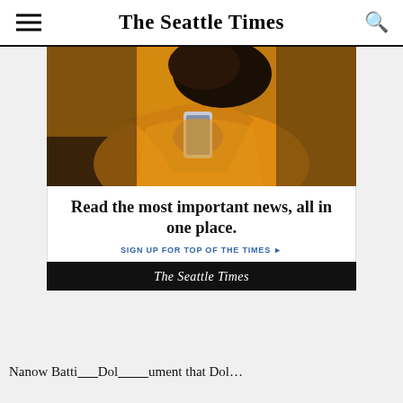The Seattle Times
[Figure (photo): A person wearing a yellow/orange sweatshirt holding a smartphone, promotional photo for The Seattle Times newsletter advertisement.]
Read the most important news, all in one place.
SIGN UP FOR TOP OF THE TIMES ▶
The Seattle Times
Norrow Dottio Dol...